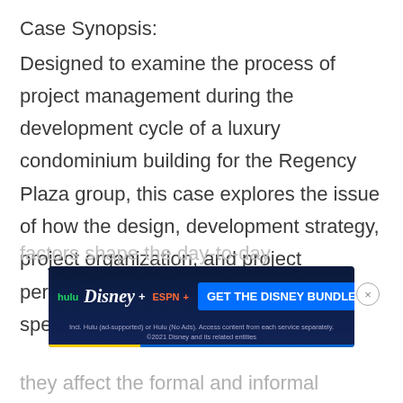Case Synopsis:
Designed to examine the process of project management during the development cycle of a luxury condominium building for the Regency Plaza group, this case explores the issue of how the design, development strategy, project organization, and project personnel are interrelated. More specifically, it looks at how these factors shape the day-to-day operations... they affect the formal and informal
[Figure (screenshot): Advertisement banner for the Disney Bundle featuring Hulu, Disney+, and ESPN+ logos with a 'GET THE DISNEY BUNDLE' call-to-action button and fine print text. Includes a close button (×) overlay.]